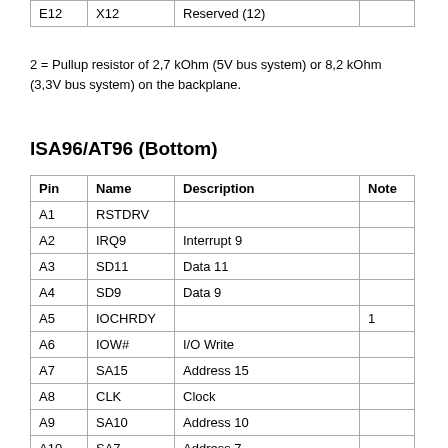| E12 | X12 | Reserved (12) |  |
2 = Pullup resistor of 2,7 kOhm (5V bus system) or 8,2 kOhm (3,3V bus system) on the backplane.
ISA96/AT96 (Bottom)
| Pin | Name | Description | Note |
| --- | --- | --- | --- |
| A1 | RSTDRV |  |  |
| A2 | IRQ9 | Interrupt 9 |  |
| A3 | SD11 | Data 11 |  |
| A4 | SD9 | Data 9 |  |
| A5 | IOCHRDY |  | 1 |
| A6 | IOW# | I/O Write |  |
| A7 | SA15 | Address 15 |  |
| A8 | CLK | Clock |  |
| A9 | SA10 | Address 10 |  |
| A10 | SA7 | Address 7 |  |
| A11 | T/C |  |  |
| A12 | SA2 | Address 2 |  |